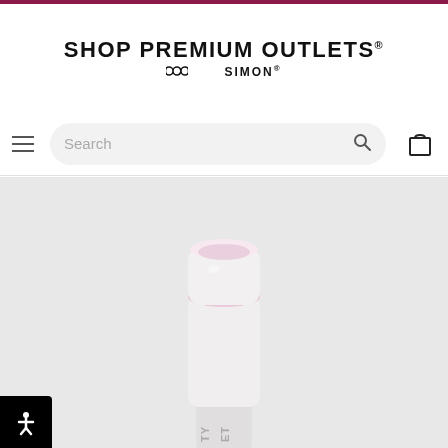SHOP PREMIUM OUTLETS® ∞ SIMON®
[Figure (screenshot): Navigation bar with hamburger menu, search box, and shopping bag icon]
[Figure (photo): White cylindrical beauty/cosmetic product with pink-tinted top cap on light gray background, showing partial text 'TY ET' at bottom]